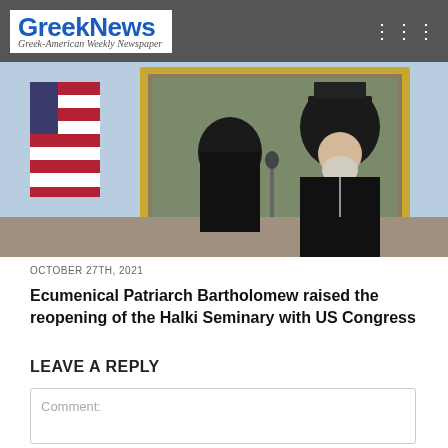GreekNews Greek-American Weekly Newspaper
[Figure (photo): Two Orthodox clergy in black robes and hats standing before an ornate gold-framed painting, with an American flag visible on the left side.]
OCTOBER 27TH, 2021
Ecumenical Patriarch Bartholomew raised the reopening of the Halki Seminary with US Congress
LEAVE A REPLY
Comment: